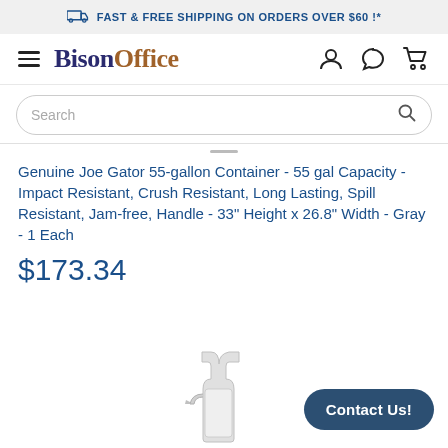FAST & FREE SHIPPING ON ORDERS OVER $60 !*
[Figure (logo): BisonOffice logo with hamburger menu and user/chat/cart icons]
Search
Genuine Joe Gator 55-gallon Container - 55 gal Capacity - Impact Resistant, Crush Resistant, Long Lasting, Spill Resistant, Jam-free, Handle - 33" Height x 26.8" Width - Gray - 1 Each
$173.34
[Figure (photo): Partial view of a spray bottle in lower center of page]
Contact Us!